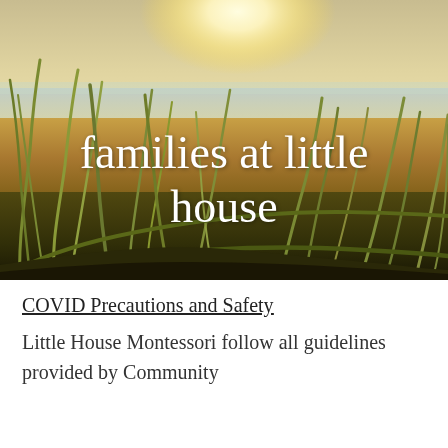[Figure (photo): Beach scene with tall grass in the foreground, ocean water and bright sunlit sky in the background. White cursive text overlaid reads 'families at little house'.]
COVID Precautions and Safety
Little House Montessori follow all guidelines provided by Community